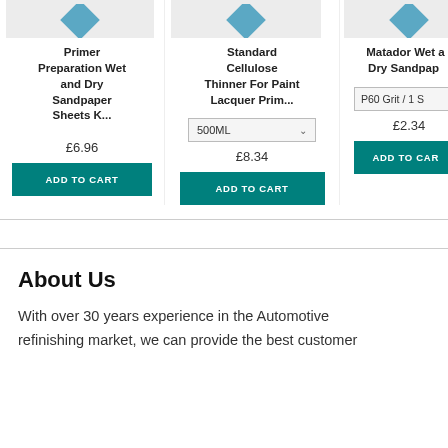[Figure (screenshot): E-commerce product listing showing three product cards: 'Primer Preparation Wet and Dry Sandpaper Sheets K...' priced at £6.96, 'Standard Cellulose Thinner For Paint Lacquer Prim...' with 500ML dropdown priced at £8.34, and 'Matador Wet and Dry Sandpap...' with P60 Grit / 1 S option priced at £2.34, each with Add to Cart buttons.]
About Us
With over 30 years experience in the Automotive refinishing market, we can provide the best customer